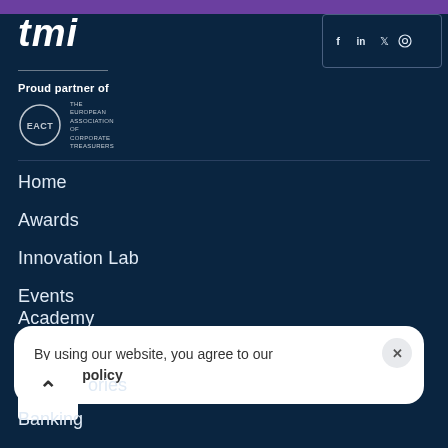[Figure (logo): Purple top bar with TMI logo (white bold italic) on the left and social media icons row on the right]
Proud partner of
[Figure (logo): EACT - The European Association of Corporate Treasurers logo: circle with EACT text and name beside it]
Home
Awards
Innovation Lab
Events
Academy
By using our website, you agree to our cookie policy
ories
Banking